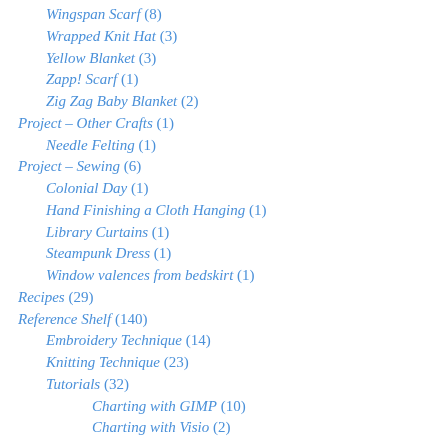Wingspan Scarf (8)
Wrapped Knit Hat (3)
Yellow Blanket (3)
Zapp! Scarf (1)
Zig Zag Baby Blanket (2)
Project – Other Crafts (1)
Needle Felting (1)
Project – Sewing (6)
Colonial Day (1)
Hand Finishing a Cloth Hanging (1)
Library Curtains (1)
Steampunk Dress (1)
Window valences from bedskirt (1)
Recipes (29)
Reference Shelf (140)
Embroidery Technique (14)
Knitting Technique (23)
Tutorials (32)
Charting with GIMP (10)
Charting with Visio (?)